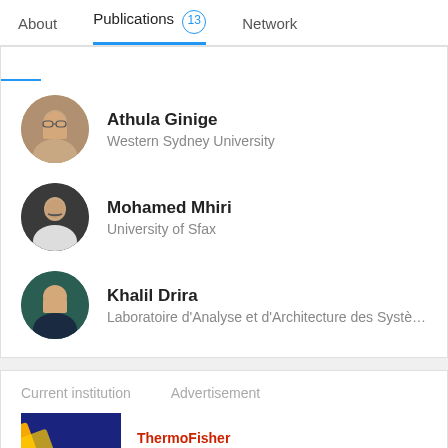About  Publications 13  Network
[Figure (screenshot): Profile card showing three researchers: Athula Ginige (Western Sydney University), Mohamed Mhiri (University of Sfax), Khalil Drira (Laboratoire d'Analyse et d'Architecture des Systè...)]
Athula Ginige
Western Sydney University
Mohamed Mhiri
University of Sfax
Khalil Drira
Laboratoire d'Analyse et d'Architecture des Systè...
Current institution
Advertisement
[Figure (logo): ThermoFisher Scientific logo in red]
Cloning solutions made for advancement